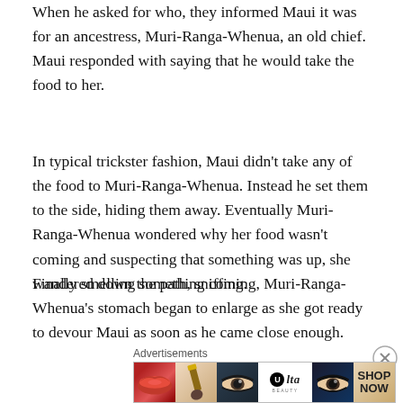When he asked for who, they informed Maui it was for an ancestress, Muri-Ranga-Whenua, an old chief. Maui responded with saying that he would take the food to her.
In typical trickster fashion, Maui didn't take any of the food to Muri-Ranga-Whenua. Instead he set them to the side, hiding them away. Eventually Muri-Ranga-Whenua wondered why her food wasn't coming and suspecting that something was up, she wandered down the path, sniffing.
Finally smelling something coming, Muri-Ranga-Whenua's stomach began to enlarge as she got ready to devour Maui as soon as he came close enough. Maui went up wind of the old chief so she couldn't find him. Turning westward, Muri-Ranga-Whenua finally smelled someone
Advertisements
[Figure (photo): Ulta Beauty advertisement banner showing close-up images of lips with lipstick, a makeup brush on skin, an eye with dramatic makeup, the Ulta Beauty logo, another eye with dramatic makeup, and a 'SHOP NOW' call to action.]